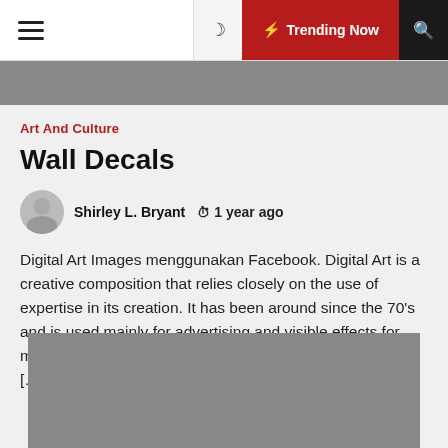≡ Trending Now 🔍
Art And Culture
Wall Decals
Shirley L. Bryant  🕐 1 year ago
Digital Art Images menggunakan Facebook. Digital Art is a creative composition that relies closely on the use of expertise in its creation. It has been around since the 70's and is used mainly for advertising and visible effects for movie. Digital Art is available in many kinds, most often it [...]
[Figure (photo): Gray placeholder image at bottom of page]